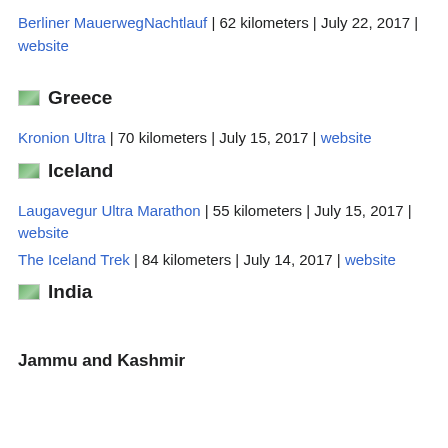Berliner MauerwegNachtlauf | 62 kilometers | July 22, 2017 | website
Greece
Kronion Ultra | 70 kilometers | July 15, 2017 | website
Iceland
Laugavegur Ultra Marathon | 55 kilometers | July 15, 2017 | website
The Iceland Trek | 84 kilometers | July 14, 2017 | website
India
Jammu and Kashmir